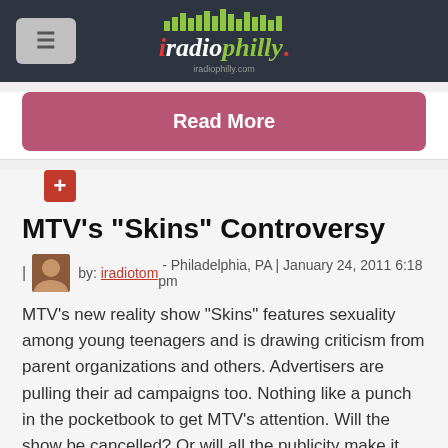iRadioPhilly - iradiophilly.com
Read More
MTV's "Skins" Controversy
by: iradiotom - Philadelphia, PA | January 24, 2011 6:18 pm
MTV's new reality show "Skins" features sexuality among young teenagers and is drawing criticism from parent organizations and others. Advertisers are pulling their ad campaigns too. Nothing like a punch in the pocketbook to get MTV's attention. Will the show be cancelled? Or will all the publicity make it a...
Read More